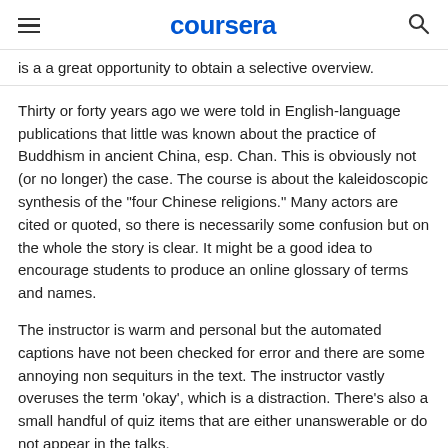coursera
is a a great opportunity to obtain a selective overview.
Thirty or forty years ago we were told in English-language publications that little was known about the practice of Buddhism in ancient China, esp. Chan. This is obviously not (or no longer) the case. The course is about the kaleidoscopic synthesis of the "four Chinese religions." Many actors are cited or quoted, so there is necessarily some confusion but on the whole the story is clear. It might be a good idea to encourage students to produce an online glossary of terms and names.
The instructor is warm and personal but the automated captions have not been checked for error and there are some annoying non sequiturs in the text. The instructor vastly overuses the term 'okay', which is a distraction. There's also a small handful of quiz items that are either unanswerable or do not appear in the talks.